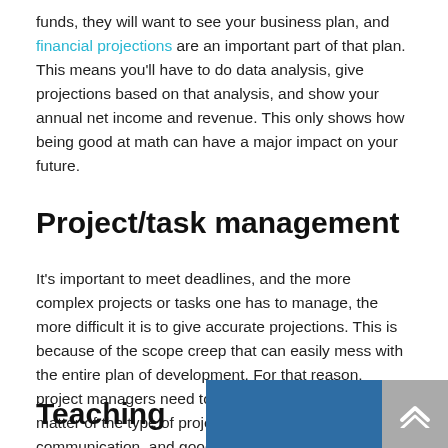funds, they will want to see your business plan, and financial projections are an important part of that plan. This means you'll have to do data analysis, give projections based on that analysis, and show your annual net income and revenue. This only shows how being good at math can have a major impact on your future.
Project/task management
It's important to meet deadlines, and the more complex projects or tasks one has to manage, the more difficult it is to give accurate projections. This is because of the scope creep that can easily mess with the entire plan of development. For that reason, project managers need to have insight into the subject matter of the type of project they are managing, good communication, and good math skills.
Teaching